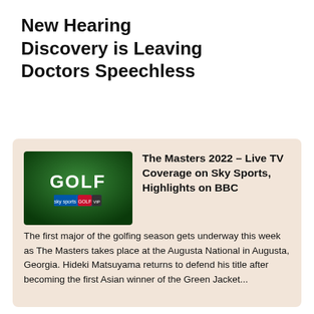New Hearing Discovery is Leaving Doctors Speechless
[Figure (screenshot): Green background image with white text 'GOLF' and Sky Sports Golf logo]
The Masters 2022 – Live TV Coverage on Sky Sports, Highlights on BBC
The first major of the golfing season gets underway this week as The Masters takes place at the Augusta National in Augusta, Georgia. Hideki Matsuyama returns to defend his title after becoming the first Asian winner of the Green Jacket...